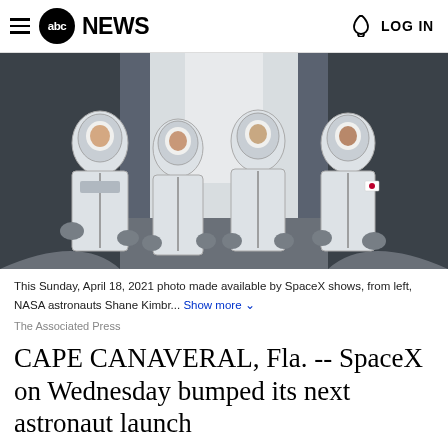abc NEWS  LOG IN
[Figure (photo): Four astronauts in white SpaceX spacesuits standing in a corridor, posing for a photo.]
This Sunday, April 18, 2021 photo made available by SpaceX shows, from left, NASA astronauts Shane Kimbr... Show more
The Associated Press
CAPE CANAVERAL, Fla. -- SpaceX on Wednesday bumped its next astronaut launch